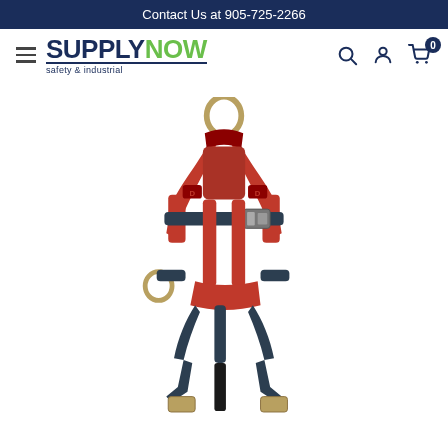Contact Us at 905-725-2266
[Figure (logo): SupplyNow Safety & Industrial logo with hamburger menu, search icon, account icon, and cart icon showing 0 items]
[Figure (photo): Red and black full-body safety harness with D-rings, buckles, and shoulder padding, displayed against white background]